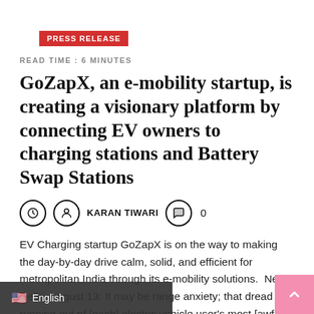PRESS RELEASE
READ TIME : 6 MINUTES
GoZapX, an e-mobility startup, is creating a visionary platform by connecting EV owners to charging stations and Battery Swap Stations
KARAN TIWARI  0
EV Charging startup GoZapX is on the way to making the day-by-day drive calm, solid, and efficient for metropolitan India through its e-mobility solutions.  New Delhi, August 13: It may be range anxiety; that dread of running out of [each] electric vehicle user's most [awful bad dream. [...]]